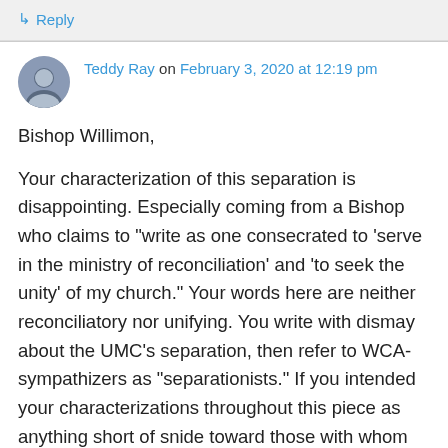↳ Reply
Teddy Ray on February 3, 2020 at 12:19 pm
Bishop Willimon,

Your characterization of this separation is disappointing. Especially coming from a Bishop who claims to "write as one consecrated to 'serve in the ministry of reconciliation' and 'to seek the unity' of my church." Your words here are neither reconciliatory nor unifying. You write with dismay about the UMC's separation, then refer to WCA-sympathizers as "separationists." If you intended your characterizations throughout this piece as anything short of snide toward those with whom you disagree, I think you